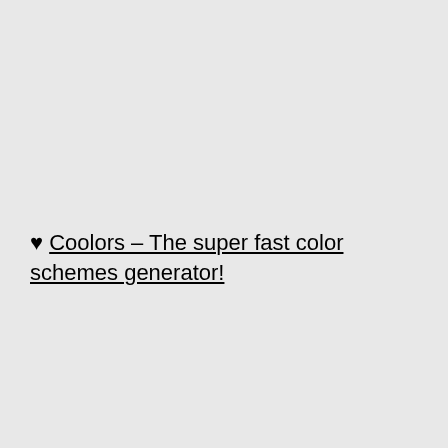♥ Coolors – The super fast color schemes generator!